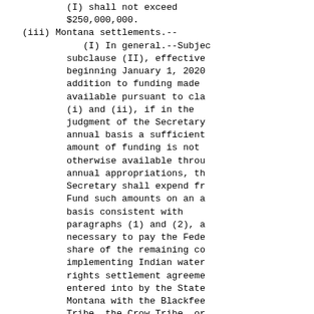(I) shall not exceed $250,000,000.
(iii) Montana settlements.--
    (I) In general.--Subject to
 subclause (II), effective
 beginning January 1, 2020,
 addition to funding made
 available pursuant to cl.
 (i) and (ii), if in the
 judgment of the Secretary,
 annual basis a sufficient
 amount of funding is not
 otherwise available throu
 annual appropriations, th
 Secretary shall expend fr
 Fund such amounts on an a
 basis consistent with
 paragraphs (1) and (2), a
 necessary to pay the Fede
 share of the remaining co
 implementing Indian water
 rights settlement agreeme
 entered into by the State
 Montana with the Blackfee
 Tribe, the Crow Tribe, or
 Gros Ventre and Assinibo
 Tribes of the Fort Belkna
 Indian Reservation in the
 judicial proceeding entit
 ``In re the General